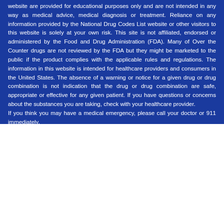website are provided for educational purposes only and are not intended in any way as medical advice, medical diagnosis or treatment. Reliance on any information provided by the National Drug Codes List website or other visitors to this website is solely at your own risk. This site is not affiliated, endorsed or administered by the Food and Drug Administration (FDA). Many of Over the Counter drugs are not reviewed by the FDA but they might be marketed to the public if the product complies with the applicable rules and regulations. The information in this website is intended for healthcare providers and consumers in the United States. The absence of a warning or notice for a given drug or drug combination is not indication that the drug or drug combination are safe, appropriate or effective for any given patient. If you have questions or concerns about the substances you are taking, check with your healthcare provider. If you think you may have a medical emergency, please call your doctor or 911 immediately.